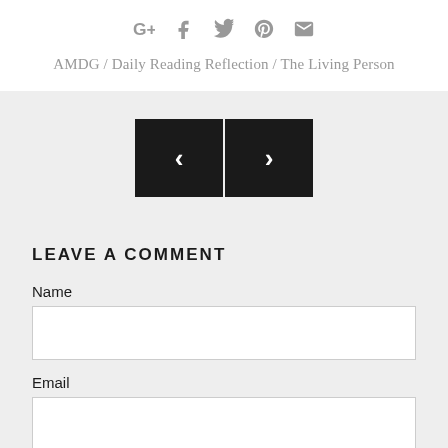[Figure (infographic): Social sharing icons: Google+, Facebook, Twitter, Pinterest, Mail (envelope) — all in grey]
AMDG / Daily Reading Reflection / The Living Person
[Figure (infographic): Navigation buttons: left arrow (<) and right arrow (>) in black squares, on a grey background]
LEAVE A COMMENT
Name
Email
Message